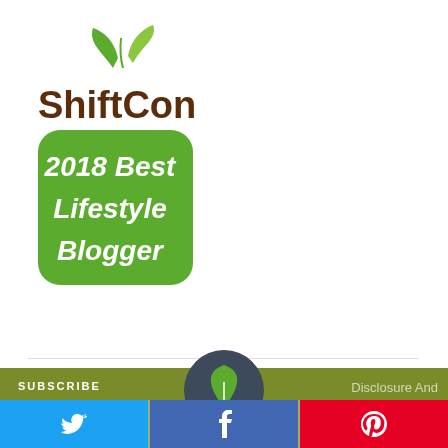[Figure (logo): ShiftCon logo with green leaves and badge reading '2018 Best Lifestyle Blogger' on green rounded rectangle background]
SUBSCRIBE
Disclosure And
[Figure (illustration): Circular dark grey avatar icon with green plant/leaf icon]
[Figure (infographic): Social share buttons: Twitter (blue), Facebook (blue), Pinterest (red) with respective icons]